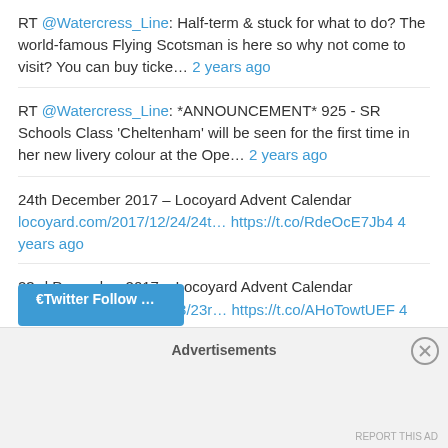RT @Watercress_Line: Half-term & stuck for what to do? The world-famous Flying Scotsman is here so why not come to visit? You can buy ticke… 2 years ago
RT @Watercress_Line: *ANNOUNCEMENT* 925 - SR Schools Class 'Cheltenham' will be seen for the first time in her new livery colour at the Ope… 2 years ago
24th December 2017 – Locoyard Advent Calendar locoyard.com/2017/12/24/24t… https://t.co/RdeOcE7Jb4 4 years ago
23rd December 2017 – Locoyard Advent Calendar locoyard.com/2017/12/23/23r… https://t.co/AHoTowtUEF 4 years ago
22nd December 2017 – Locoyard Advent Calendar locoyard.com/2017/12/22/22n… https://t.co/bwixTC4PE5 4 years ago
Advertisements
REPORT THIS AD